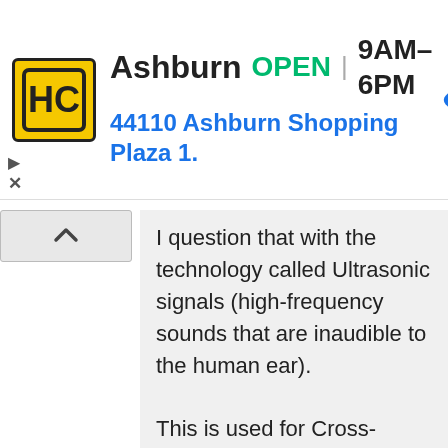[Figure (other): Advertisement banner for HC Ashburn store. Shows HC logo (yellow square with HC text), store name 'Ashburn', status 'OPEN', hours '9AM–6PM', address '44110 Ashburn Shopping Plaza 1.', and a blue navigation arrow icon.]
I question that with the technology called Ultrasonic signals (high-frequency sounds that are inaudible to the human ear). This is used for Cross-Device Tracking, which links devices such as web browsers, mobile devices or TVs through the use of these h-f sounds and coupled with browser cookies resulting in a combined tracking profile of the user across devices instead of just individual devices.
The ability to gather and store data